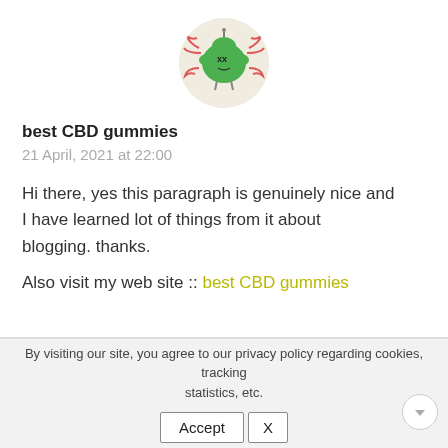[Figure (illustration): Circular avatar image showing a cartoon green monster/creature with X eyes, tentacles, and red squigly lines on a beige background]
best CBD gummies
21 April, 2021 at 22:00
Hi there, yes this paragraph is genuinely nice and I have learned lot of things from it about blogging. thanks.
Also visit my web site :: best CBD gummies
By visiting our site, you agree to our privacy policy regarding cookies, tracking statistics, etc.